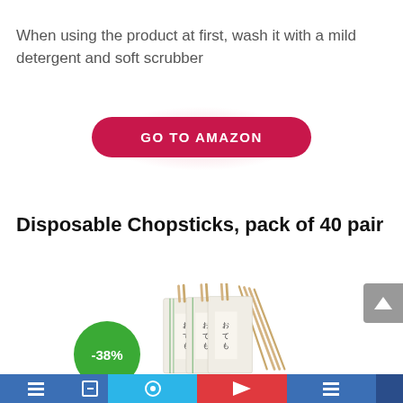When using the product at first, wash it with a mild detergent and soft scrubber
GO TO AMAZON
Disposable Chopsticks, pack of 40 pair
[Figure (photo): Package of disposable chopsticks wrapped in paper sleeves with Japanese text, with a green discount badge showing -38% and a scroll-to-top button]
Bottom navigation bar with social sharing icons